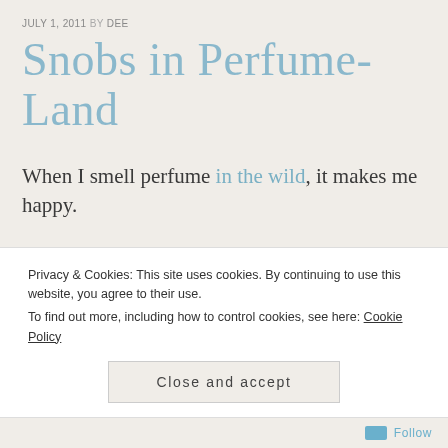JULY 1, 2011 BY DEE
Snobs in Perfume-Land
When I smell perfume in the wild, it makes me happy.
Be it Light Blue, Red Door, or Black Oud, it makes me happy, simply because people are
Privacy & Cookies: This site uses cookies. By continuing to use this website, you agree to their use.
To find out more, including how to control cookies, see here: Cookie Policy
Close and accept